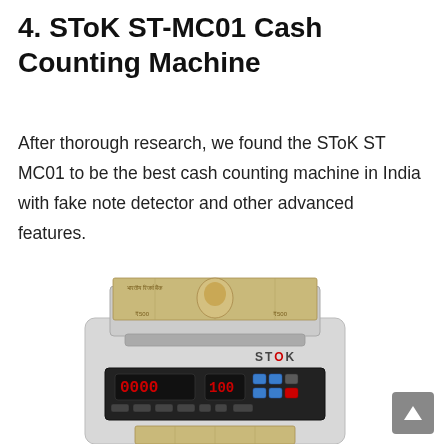4. SToK ST-MC01 Cash Counting Machine
After thorough research, we found the SToK ST MC01 to be the best cash counting machine in India with fake note detector and other advanced features.
[Figure (photo): Photo of SToK ST-MC01 cash counting machine with Indian currency notes loaded on top, showing digital display panel with red LED readout, branded with STOK logo, in light grey color.]